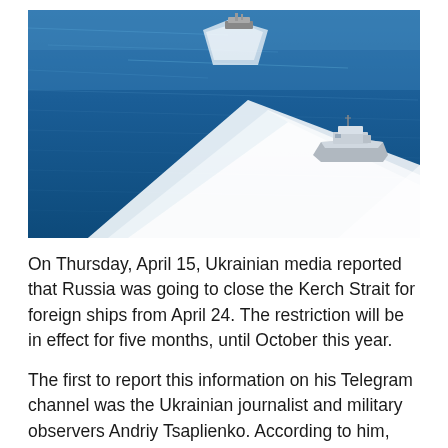[Figure (photo): Aerial view of two naval vessels moving through deep blue ocean water, leaving white wakes behind them.]
On Thursday, April 15, Ukrainian media reported that Russia was going to close the Kerch Strait for foreign ships from April 24. The restriction will be in effect for five months, until October this year.
The first to report this information on his Telegram channel was the Ukrainian journalist and military observers Andriy Tsaplienko. According to him, Moscow has already sent out